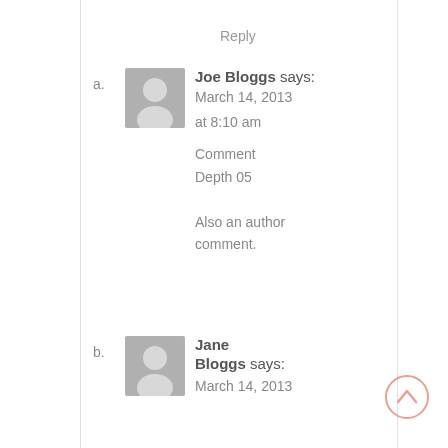Reply
a. Joe Bloggs says: March 14, 2013 at 8:10 am Comment Depth 05 Also an author comment.
b. Jane Bloggs says: March 14, 2013